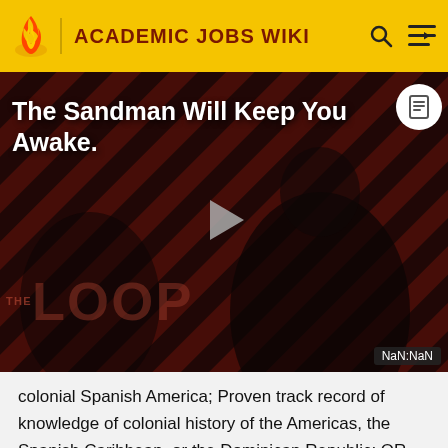ACADEMIC JOBS WIKI
[Figure (screenshot): Video thumbnail for 'The Sandman Will Keep You Awake.' showing a dark-clad figure against a red diagonal stripe background, with a play button in the center and 'THE LOOP' text. NaN:NaN timer shown.]
colonial Spanish America; Proven track record of knowledge of colonial history of the Americas, the Spanish Caribbean, or the Dominican Republic; OR Doctoral degree in colonial Latin American history and experience in Spanish paleography and research